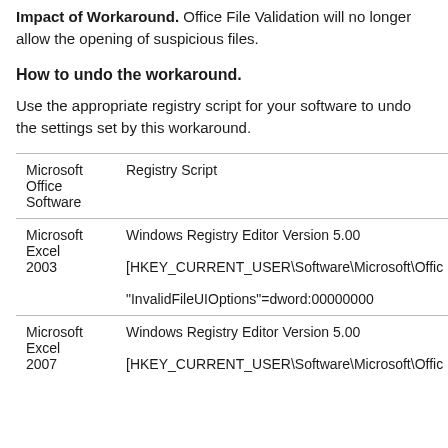Impact of Workaround. Office File Validation will no longer allow the opening of suspicious files.
How to undo the workaround.
Use the appropriate registry script for your software to undo the settings set by this workaround.
| Microsoft Office Software | Registry Script |
| --- | --- |
| Microsoft Excel 2003 | Windows Registry Editor Version 5.00
[HKEY_CURRENT_USER\Software\Microsoft\Offic
"InvalidFileUIOptions"=dword:00000000 |
| Microsoft Excel 2007 | Windows Registry Editor Version 5.00
[HKEY_CURRENT_USER\Software\Microsoft\Offic |